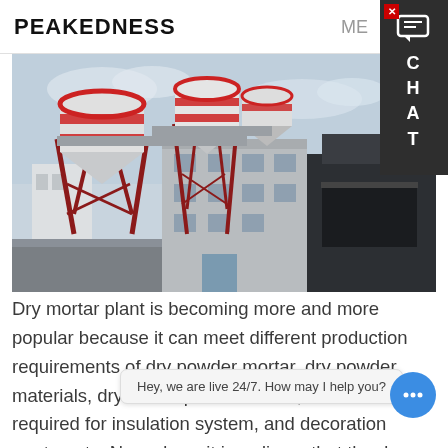PEAKEDNESS    ME... CHAT
[Figure (photo): Industrial dry mortar plant facility showing large silos with red and white striping, a multi-story concrete building structure, and adjacent dark-colored warehouse building under an overcast sky.]
Dry mortar plant is becoming more and more popular because it can meet different production requirements of dry powder mortar, dry powder materials, dry-mixed plaster mortar, mortar required for insulation system, and decoration mortar, etc. Nowadays, it is ordinary that the dry mortar is use... masonry, coating